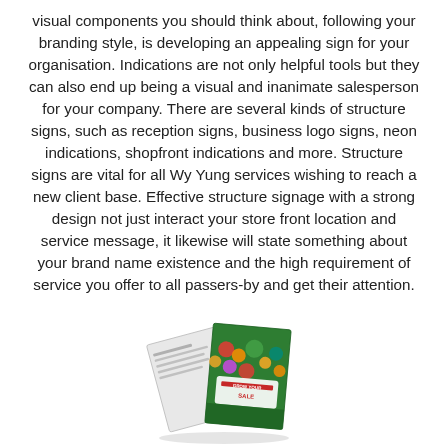visual components you should think about, following your branding style, is developing an appealing sign for your organisation. Indications are not only helpful tools but they can also end up being a visual and inanimate salesperson for your company. There are several kinds of structure signs, such as reception signs, business logo signs, neon indications, shopfront indications and more. Structure signs are vital for all Wy Yung services wishing to reach a new client base. Effective structure signage with a strong design not just interact your store front location and service message, it likewise will state something about your brand name existence and the high requirement of service you offer to all passers-by and get their attention.
[Figure (illustration): A brochure/booklet displayed at an angle showing a colorful cover with produce/fruit imagery and text, with white inner pages visible.]